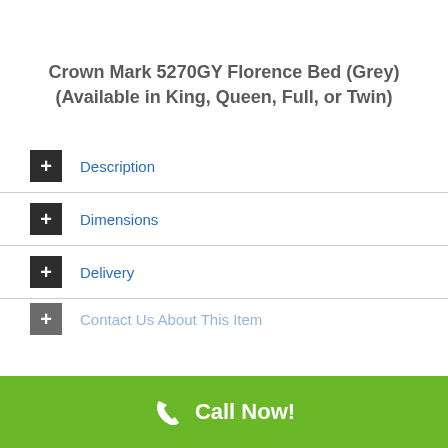Crown Mark 5270GY Florence Bed (Grey) (Available in King, Queen, Full, or Twin)
+ Description
+ Dimensions
+ Delivery
+ Contact Us About This Item
Call Now!